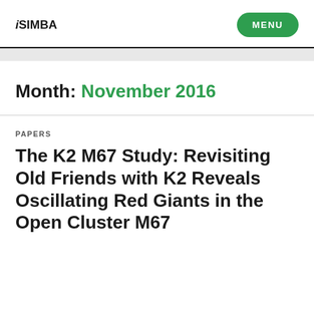iSIMBA  MENU
Month: November 2016
PAPERS
The K2 M67 Study: Revisiting Old Friends with K2 Reveals Oscillating Red Giants in the Open Cluster M67